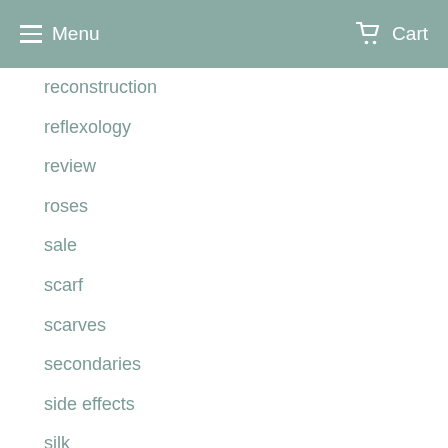Menu   Cart
reconstruction
reflexology
review
roses
sale
scarf
scarves
secondaries
side effects
silk
skull
skull cap
skull caps
skullie